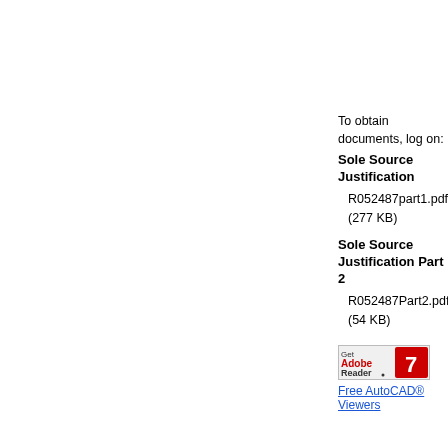To obtain documents, log on:
Sole Source Justification
R052487part1.pdf
(277 KB)
Sole Source Justification Part 2
R052487Part2.pdf
(54 KB)
[Figure (logo): Get Adobe Reader logo with red swoosh graphic]
Free AutoCAD® Viewers